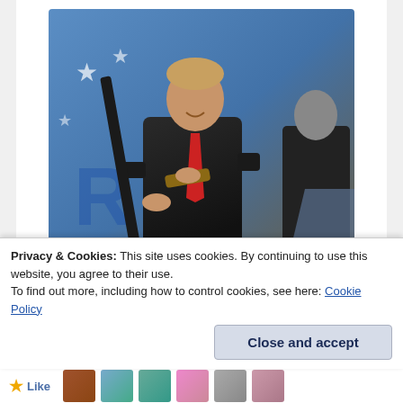[Figure (photo): A man in a dark suit and red tie holding a long rifle/shotgun on a stage with a blue backdrop featuring stars, with another person in a dark suit visible to the right near a podium.]
A Year From Now There's An Excellent Possibility Donald Trump Will Be Commander And Chief Of The U. S. Military
Privacy & Cookies: This site uses cookies. By continuing to use this website, you agree to their use.
To find out more, including how to control cookies, see here: Cookie Policy
Close and accept